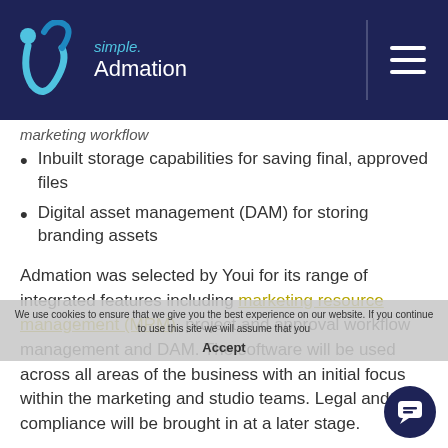[Figure (logo): Admation logo with blue figure and text 'simple. Admation' on dark navy header background with hamburger menu icon]
marketing workflow (partial, cut off at top)
Inbuilt storage capabilities for saving final, approved files
Digital asset management (DAM) for storing branding assets
Admation was selected by Youi for its range of integrated features including marketing resource management (MRM), project and approval workflow management and DAM. The software will be used across all areas of the business with an initial focus within the marketing and studio teams. Legal and compliance will be brought in at a later stage.
We use cookies to ensure that we give you the best experience on our website. If you continue to use this site we will assume that you Accept
With admation, Youi aims to achieve: